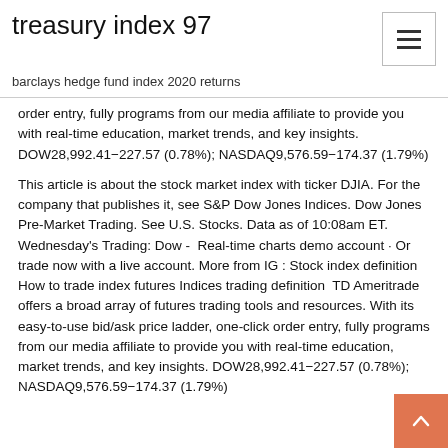treasury index 97
barclays hedge fund index 2020 returns
order entry, fully programs from our media affiliate to provide you with real-time education, market trends, and key insights. DOW28,992.41−227.57 (0.78%); NASDAQ9,576.59−174.37 (1.79%)
This article is about the stock market index with ticker DJIA. For the company that publishes it, see S&P Dow Jones Indices. Dow Jones  Pre-Market Trading. See U.S. Stocks. Data as of 10:08am ET. Wednesday's Trading: Dow -  Real-time charts demo account · Or trade now with a live account. More from IG : Stock index definition How to trade index futures Indices trading definition  TD Ameritrade offers a broad array of futures trading tools and resources. With its easy-to-use bid/ask price ladder, one-click order entry, fully programs from our media affiliate to provide you with real-time education, market trends, and key insights. DOW28,992.41−227.57 (0.78%); NASDAQ9,576.59−174.37 (1.79%)